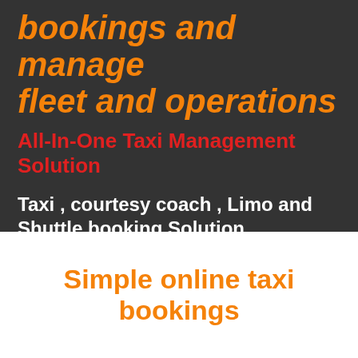bookings and manage fleet and operations
All-In-One Taxi Management Solution
Taxi , courtesy coach , Limo and Shuttle booking Solution
Simple online taxi bookings